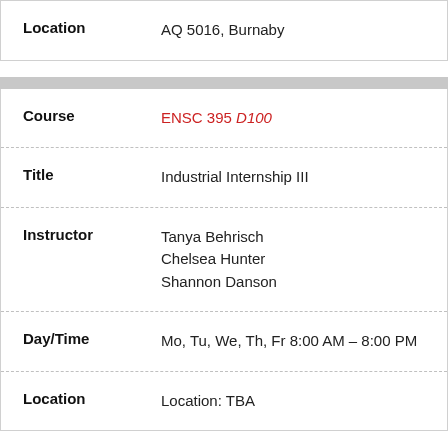| Field | Value |
| --- | --- |
| Location | AQ 5016, Burnaby |
| Field | Value |
| --- | --- |
| Course | ENSC 395 D100 |
| Title | Industrial Internship III |
| Instructor | Tanya Behrisch
Chelsea Hunter
Shannon Danson |
| Day/Time | Mo, Tu, We, Th, Fr 8:00 AM – 8:00 PM |
| Location | Location: TBA |